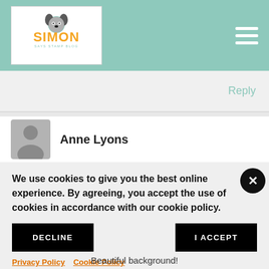[Figure (logo): Simon Says Stamp Blog logo with orange text and cartoon dog mascot on white background, set in a teal/green header with hamburger menu icon]
Reply
Anne Lyons
We use cookies to give you the best online experience. By agreeing, you accept the use of cookies in accordance with our cookie policy.
DECLINE
I ACCEPT
Privacy Policy   Cookie Policy
Beautiful background!